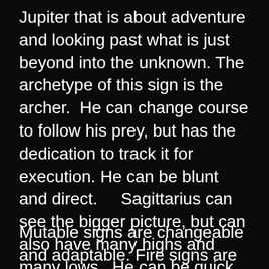Jupiter that is about adventure and looking past what is just beyond into the unknown. The archetype of this sign is the archer.  He can change course to follow his prey, but has the dedication to track it for execution. He can be blunt and direct.    Sagittarius can see the bigger picture, but can also have many highs and many lows.  He can be quick tempered, yet methodical and wise. He can be spontaneous, but reliable.
Mutable signs are changeable and adaptable. Fire signs are passionate and head full force towards what thrills them in